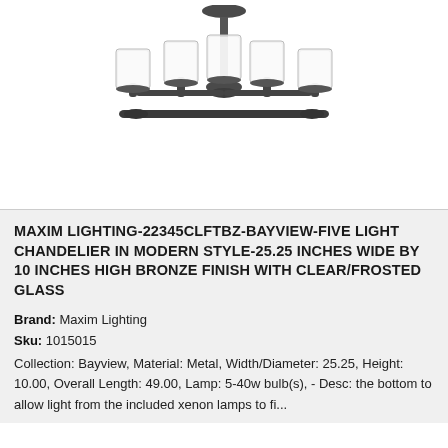[Figure (photo): Product photo of a Maxim Lighting Bayview five-light chandelier in bronze finish with clear/frosted glass cylindrical shades, shown hanging from a ceiling mount with a rod, five arms extending outward with glass shades]
MAXIM LIGHTING-22345CLFTBZ-BAYVIEW-FIVE LIGHT CHANDELIER IN MODERN STYLE-25.25 INCHES WIDE BY 10 INCHES HIGH BRONZE FINISH WITH CLEAR/FROSTED GLASS
Brand: Maxim Lighting
Sku: 1015015
Collection: Bayview, Material: Metal, Width/Diameter: 25.25, Height: 10.00, Overall Length: 49.00, Lamp: 5-40w bulb(s), - Desc: the bottom to allow light from the included xenon lamps to fi...